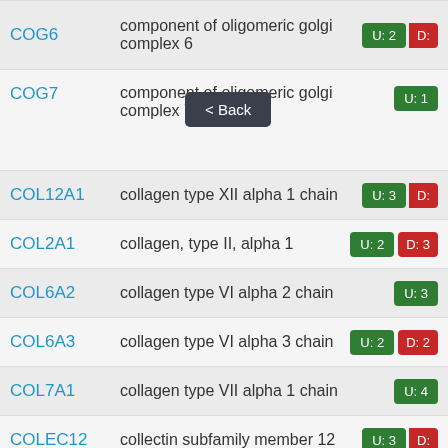| Gene | Description | Badges |
| --- | --- | --- |
| COG6 | component of oligomeric golgi complex 6 | U: 2 | D: (partial) |
| COG7 | component of oligomeric golgi complex 7 | U: 1 |
| COL12A1 | collagen type XII alpha 1 chain | U: 3 | D: (partial) |
| COL2A1 | collagen, type II, alpha 1 | U: 2 | D: 3 |
| COL6A2 | collagen type VI alpha 2 chain | U: 3 |
| COL6A3 | collagen type VI alpha 3 chain | U: 2 | D: 2 |
| COL7A1 | collagen type VII alpha 1 chain | U: 4 |
| COLEC12 | collectin subfamily member 12 | U: 3 | D: (partial) |
| COMMD7 | COMM domain containing 7 | D: 1 |